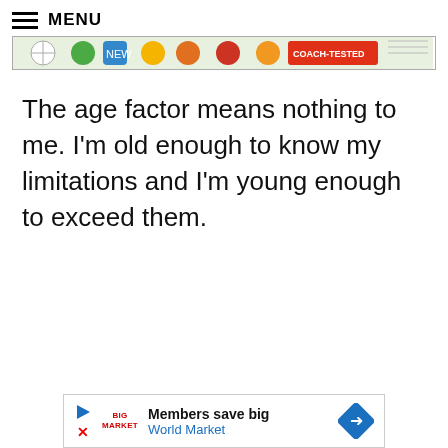MENU
[Figure (screenshot): Top advertisement banner showing sports equipment imagery and 'COACH-TESTED' badge]
The age factor means nothing to me. I’m old enough to know my limitations and I’m young enough to exceed them.
[Figure (screenshot): Bottom advertisement banner: Members save big — World Market, with play button, X button, brand logo, and navigation arrow]